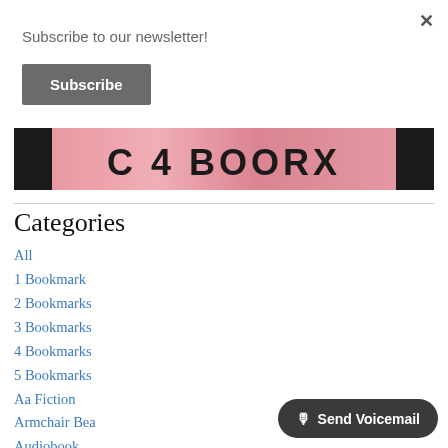×
Subscribe to our newsletter!
Subscribe
[Figure (photo): Pink book cover with partial text visible, flanked by dark book spines on left and right]
Categories
All
1 Bookmark
2 Bookmarks
3 Bookmarks
4 Bookmarks
5 Bookmarks
Aa Fiction
Armchair Bea
Audiobook
Author Features
🎙 Send Voicemail